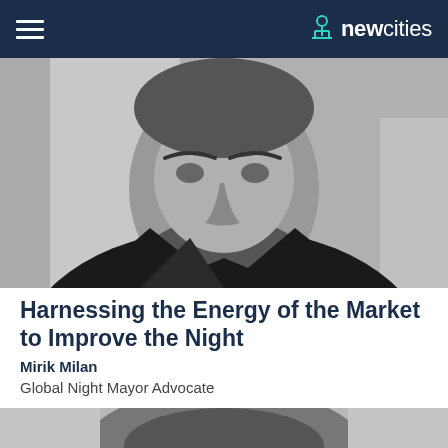newcities
[Figure (photo): Black and white portrait photo of a bearded man in a black blazer, looking slightly upward]
Harnessing the Energy of the Market to Improve the Night
Mirik Milan
Global Night Mayor Advocate
[Figure (photo): Black and white photo showing the top of a person's head with short dark hair]